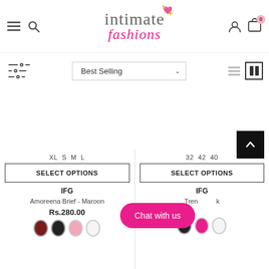[Figure (logo): Intimate Fashions logo with heart icon, 'intimate' in grey serif and 'fashions' in pink italic cursive]
[Figure (screenshot): E-commerce navigation header with hamburger menu, search icon, user icon, and cart with 0 badge]
Best Selling (dropdown sort selector)
[Figure (infographic): Filter/sliders icon, sort dropdown 'Best Selling', and list/grid view toggle icons]
[Figure (infographic): Back to top arrow button (black square with white chevron up)]
XL S M L
SELECT OPTIONS
IFG
Amoreena Brief - Maroon
Rs.280.00
32 42 40
SELECT OPTIONS
IFG
Chat with us